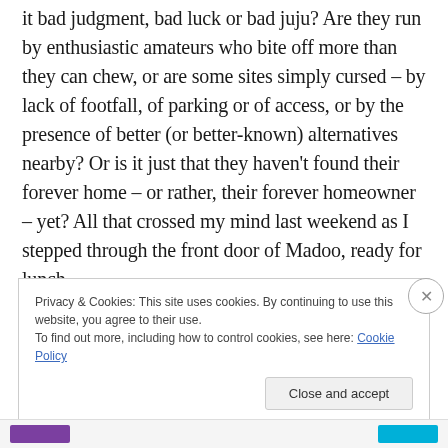it bad judgment, bad luck or bad juju? Are they run by enthusiastic amateurs who bite off more than they can chew, or are some sites simply cursed – by lack of footfall, of parking or of access, or by the presence of better (or better-known) alternatives nearby? Or is it just that they haven't found their forever home – or rather, their forever homeowner – yet? All that crossed my mind last weekend as I stepped through the front door of Madoo, ready for lunch.
Privacy & Cookies: This site uses cookies. By continuing to use this website, you agree to their use.
To find out more, including how to control cookies, see here: Cookie Policy